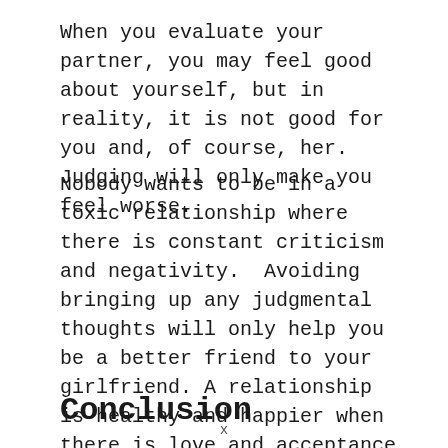When you evaluate your partner, you may feel good about yourself, but in reality, it is not good for you and, of course, her. Judging will only make you feel worse.
Nobody wants to be in a toxic relationship where there is constant criticism and negativity.  Avoiding bringing up any judgmental thoughts will only help you be a better friend to your girlfriend. A relationship is healthy and happier when there is love and acceptance of one another.
Conclusion